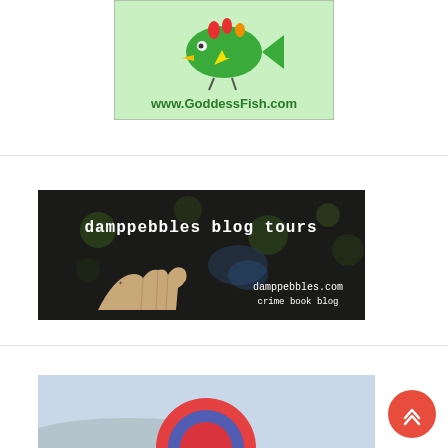[Figure (logo): Goddess Fish Promotions logo with cartoon fish character and text www.GoddessFish.com on green background]
[Figure (illustration): Damppebbles Blog Tours banner showing a hand and text 'damppebbles blog tours' and 'damppebbles.com crime book blog' on dark background]
[Figure (illustration): Partial view of a third banner image with blue sky and circular red/blue graphic element]